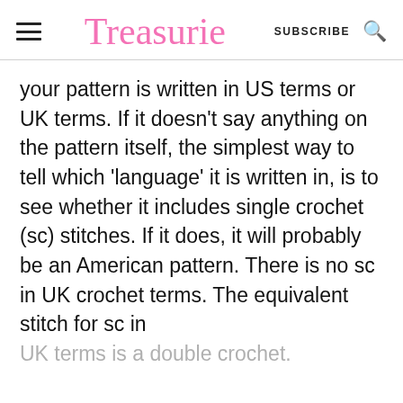Treasurie  SUBSCRIBE
your pattern is written in US terms or UK terms. If it doesn’t say anything on the pattern itself, the simplest way to tell which ‘language’ it is written in, is to see whether it includes single crochet (sc) stitches. If it does, it will probably be an American pattern. There is no sc in UK crochet terms. The equivalent stitch for sc in UK terms is a double crochet.